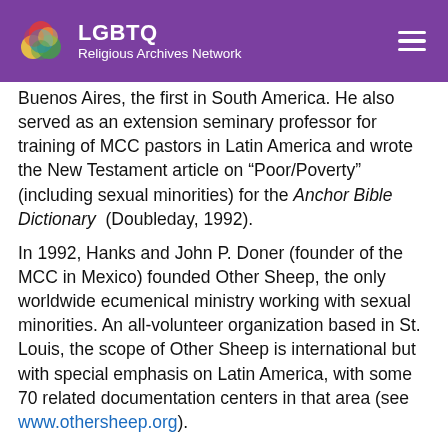LGBTQ Religious Archives Network
Buenos Aires, the first in South America. He also served as an extension seminary professor for training of MCC pastors in Latin America and wrote the New Testament article on “Poor/Poverty” (including sexual minorities) for the Anchor Bible Dictionary (Doubleday, 1992).
In 1992, Hanks and John P. Doner (founder of the MCC in Mexico) founded Other Sheep, the only worldwide ecumenical ministry working with sexual minorities. An all-volunteer organization based in St. Louis, the scope of Other Sheep is international but with special emphasis on Latin America, with some 70 related documentation centers in that area (see www.othersheep.org).